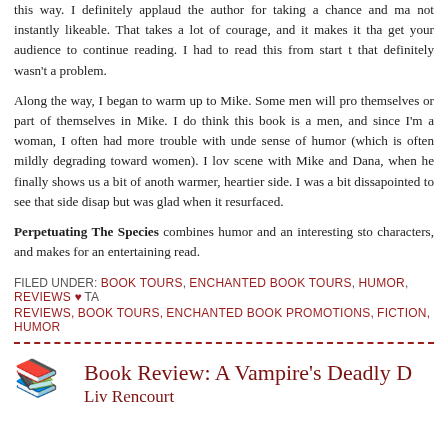this way. I definitely applaud the author for taking a chance and making a main character who is not instantly likeable. That takes a lot of courage, and it makes it that much harder to get your audience to continue reading. I had to read this from start to finish in one sitting, and that definitely wasn't a problem.
Along the way, I began to warm up to Mike. Some men will probably see themselves or part of themselves in Mike. I do think this book is a bit more geared toward men, and since I'm a woman, I often had more trouble with understanding Mike's sense of humor (which is often mildly degrading toward women). I loved the later scene with Mike and Dana, when he finally shows us a bit of another side of him—a warmer, heartier side. I was a bit dissapointed to see that side disappear so quickly, but was glad when it resurfaced.
Perpetuating The Species combines humor and an interesting storyline with well-drawn characters, and makes for an entertaining read.
FILED UNDER: BOOK TOURS, ENCHANTED BOOK TOURS, HUMOR, REVIEWS ♥ TAGS: REVIEWS, BOOK TOURS, ENCHANTED BOOK PROMOTIONS, FICTION, HUMOR
Book Review: A Vampire's Deadly D... by Liv Rencourt